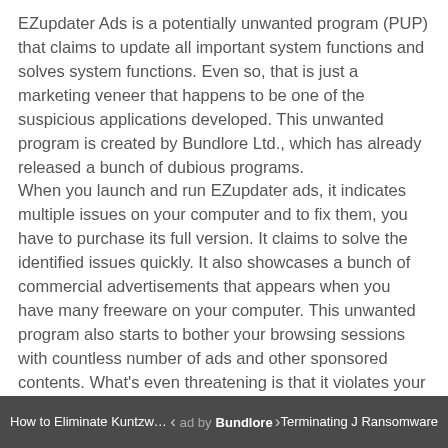EZupdater Ads is a potentially unwanted program (PUP) that claims to update all important system functions and solves system functions. Even so, that is just a marketing veneer that happens to be one of the suspicious applications developed. This unwanted program is created by Bundlore Ltd., which has already released a bunch of dubious programs.
When you launch and run EZupdater ads, it indicates multiple issues on your computer and to fix them, you have to purchase its full version. It claims to solve the identified issues quickly. It also showcases a bunch of commercial advertisements that appears when you have many freeware on your computer. This unwanted program also starts to bother your browsing sessions with countless number of ads and other sponsored contents. What's even threatening is that it violates your privacy since it shares not only seemingly irrelevant information about your browsing activities such as your search queries, websites you often visit, login details like email addresses and passwords, etc.
How is EZupdater Ads distributed?
How to Eliminate Kuntzware Rans... ad by Bundlore ... Terminating J Ransomware
distribution sites. You can be redirected to these sites if